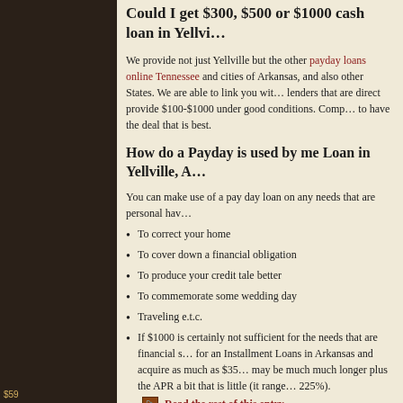Could I get $300, $500 or $1000 cash loan in Yellville, A…
We provide not just Yellville but the other payday loans online Tennessee and cities of Arkansas, and also other States. We are able to link you with lenders that are direct provide $100-$1000 under good conditions. Comp to have the deal that is best.
How do a Payday is used by me Loan in Yellville, A…
You can make use of a pay day loan on any needs that are personal hav…
To correct your home
To cover down a financial obligation
To produce your credit tale better
To commemorate some wedding day
Traveling e.t.c.
If $1000 is certainly not sufficient for the needs that are financial s… for an Installment Loans in Arkansas and acquire as much as $35… may be much much longer plus the APR a bit that is little (it range… 225%).
Read the rest of this entry
Comments Off   Filed under: payday advance loans
Believing These 10 Fables About L…